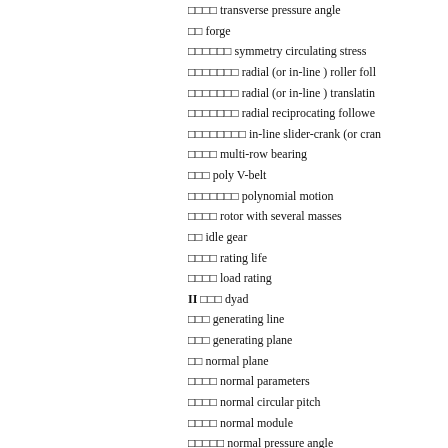□□□□ transverse pressure angle
□□ forge
□□□□□□ symmetry circulating stress
□□□□□□□ radial (or in-line ) roller foll...
□□□□□□□ radial (or in-line ) translatin...
□□□□□□□ radial reciprocating followe...
□□□□□□□□ in-line slider-crank (or cran...
□□□□ multi-row bearing
□□□ poly V-belt
□□□□□□□ polynomial motion
□□□□ rotor with several masses
□□ idle gear
□□□□ rating life
□□□□ load rating
II □□□ dyad
□□□ generating line
□□□ generating plane
□□ normal plane
□□□□ normal parameters
□□□□ normal circular pitch
□□□□ normal module
□□□□□ normal pressure angle
□□□□ normal pitch